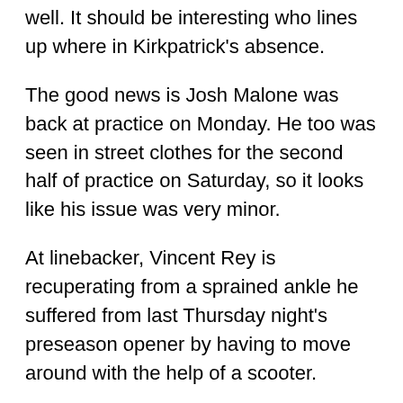well. It should be interesting who lines up where in Kirkpatrick's absence.
The good news is Josh Malone was back at practice on Monday. He too was seen in street clothes for the second half of practice on Saturday, so it looks like his issue was very minor.
At linebacker, Vincent Rey is recuperating from a sprained ankle he suffered from last Thursday night's preseason opener by having to move around with the help of a scooter.
[Figure (screenshot): Embedded tweet from Katherine Terrell (@Kat_Terrell) with verified badge and Follow button. Tweet text begins: 'Vinny Rey, who Marvin Lewis said has an ankle sprain, has to ride the dreaded']